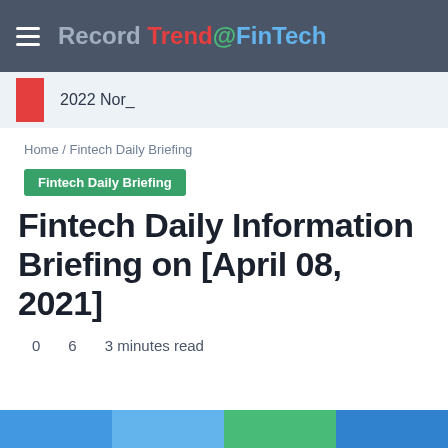Record Trend @FinTech
2022 Nor_
Home / Fintech Daily Briefing
Fintech Daily Briefing
Fintech Daily Information Briefing on [April 08, 2021]
0  6  3 minutes read